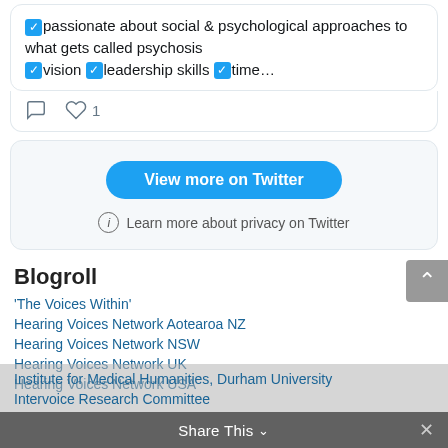✅passionate about social & psychological approaches to what gets called psychosis ✅vision ✅leadership skills ✅time…
[Figure (screenshot): Tweet action icons: comment bubble and heart with count 1]
View more on Twitter
ⓘ Learn more about privacy on Twitter
Blogroll
'The Voices Within'
Hearing Voices Network Aotearoa NZ
Hearing Voices Network NSW
Hearing Voices Network UK
Hearing Voices Network USA
Institute for Medical Humanities, Durham University
Intervoice Research Committee
Share This ∨  ×